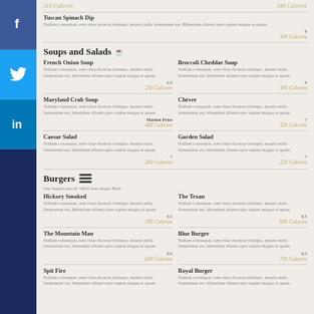[Figure (infographic): Social media sidebar with Facebook, Twitter, LinkedIn icons]
310 Calories | 548 Calories
Tuscan Spinach Dip - Nullam consequat, sem vitae rhoncus tristique, mauris nulla fermentum est. Bibendum ullamcorper sapien magna et quam. 8 - 300 Calories
Soups and Salads
French Onion Soup - Nullam consequat, sem vitae rhoncus tristique, mauris nulla fermentum est, bibendum ullamcorper sapien magna et quam. 6.5 - 250 Calories
Broccoli Cheddar Soup - Nullam consequat, sem vitae rhoncus tristique, mauris nulla fermentum est, bibendum ullamcorper sapien magna et quam. 9 - 390 Calories
Maryland Crab Soup - Market Price - 460 Calories
Chevre - 7 - 320 Calories
Caesar Salad - 7 - 260 Calories
Garden Salad - 7 - 220 Calories
Burgers
Our burgers are all 100% lean Angus Beef.
Hickory Smoked - 9.5 - 590 Calories
The Texan - 8.5 - 680 Calories
The Mountain Man - 9.5 - 600 Calories
Blue Burger - 9.5 - 700 Calories
Spit Fire - Nullam consequat...
Royal Burger - Nullam consequat...